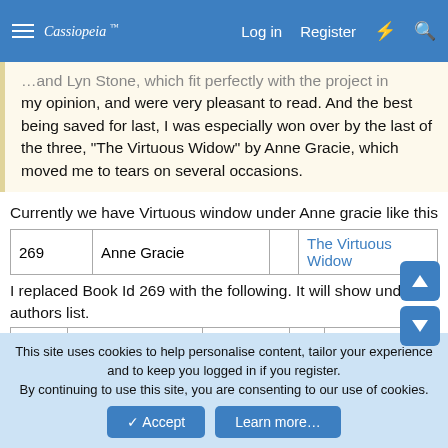Cassiopeia | Log in | Register
…and Lyn Stone, which fit perfectly with the project in my opinion, and were very pleasant to read. And the best being saved for last, I was especially won over by the last of the three, "The Virtuous Widow" by Anne Gracie, which moved me to tears on several occasions.
Currently we have Virtuous window under Anne gracie like this
|  | Anne Gracie |  | The Virtuous Widow |
| --- | --- | --- | --- |
| 269 | Anne Gracie |  | The Virtuous Widow |
I replaced Book Id 269 with the following. It will show under 3 authors list.
|  |  |  |  |  |
| --- | --- | --- | --- | --- |
| 269 | Anne Gracie, Lyn Stone & Miranda | Mills & Boon | 1 | Gifts of the Season: A Gift Most Rare / Christmas Charade / |
This site uses cookies to help personalise content, tailor your experience and to keep you logged in if you register.
By continuing to use this site, you are consenting to our use of cookies.